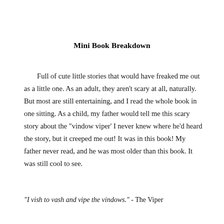Mini Book Breakdown
Full of cute little stories that would have freaked me out as a little one. As an adult, they aren't scary at all, naturally. But most are still entertaining, and I read the whole book in one sitting. As a child, my father would tell me this scary story about the "vindow viper' I never knew where he'd heard the story, but it creeped me out! It was in this book! My father never read, and he was most older than this book. It was still cool to see.
"I vish to vash and vipe the vindows." - The Viper